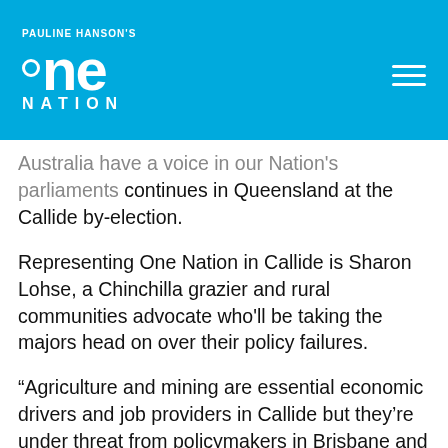PAULINE HANSON'S ONE NATION
Australia have a voice in our Nation's parliaments continues in Queensland at the Callide by-election.
Representing One Nation in Callide is Sharon Lohse, a Chinchilla grazier and rural communities advocate who'll be taking the majors head on over their policy failures.
“Agriculture and mining are essential economic drivers and job providers in Callide but they’re under threat from policymakers in Brisbane and Canberra held hostage by climate change ideology and activism,” Ms Lohse said.
“Communities and businesses and Callide need a representative who will fight to protect these